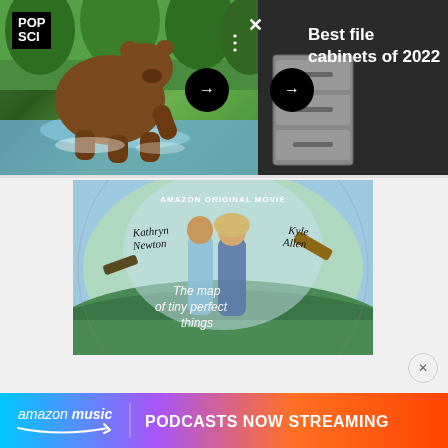[Figure (screenshot): POP SCI article thumbnail showing a bear running through water with navigation arrow, alongside a dark panel showing file cabinet product image]
Best file cabinets of 2022
[Figure (screenshot): Amazon Original Movie poster for 'The Map of Tiny Perfect Things' featuring Kathryn Newton and Kyle Allen]
[Figure (screenshot): Amazon Music advertisement banner - PODCASTS NOW STREAMING]